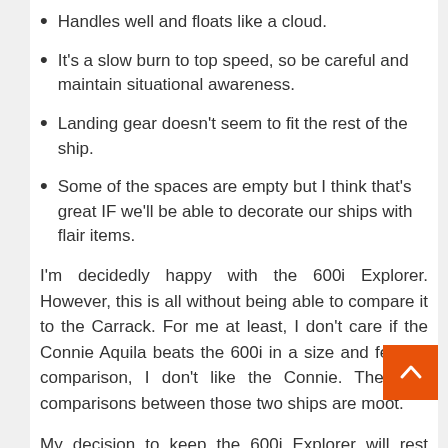Handles well and floats like a cloud.
It's a slow burn to top speed, so be careful and maintain situational awareness.
Landing gear doesn't seem to fit the rest of the ship.
Some of the spaces are empty but I think that's great IF we'll be able to decorate our ships with flair items.
I'm decidedly happy with the 600i Explorer. However, this is all without being able to compare it to the Carrack. For me at least, I don't care if the Connie Aquila beats the 600i in a size and feature comparison, I don't like the Connie. Therefore comparisons between those two ships are moot.
My decision to keep the 600i Explorer will rest with how it compares to the Carrack. If the size and features are close, it won't make sense to own both ships. I've melted a few